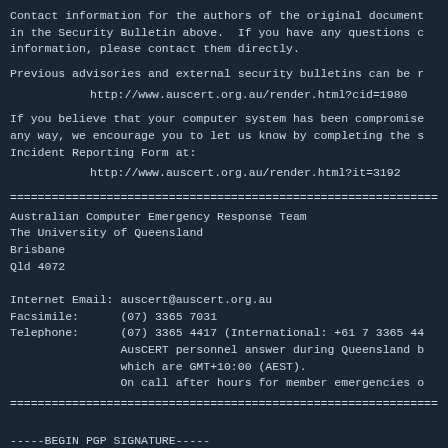Contact information for the authors of the original document in the Security Bulletin above.  If you have any questions c information, please contact them directly.
Previous advisories and external security bulletins can be r
http://www.auscert.org.au/render.html?cid=1980
If you believe that your computer system has been compromise any way, we encourage you to let us know by completing the s Incident Reporting Form at:
http://www.auscert.org.au/render.html?it=3192
==============================================================
Australian Computer Emergency Response Team
The University of Queensland
Brisbane
Qld 4072
Internet Email: auscert@auscert.org.au
Facsimile:      (07) 3365 7031
Telephone:      (07) 3365 4417 (International: +61 7 3365 44
                AusCERT personnel answer during Queensland b
                which are GMT+10:00 (AEST).
                On call after hours for member emergencies o
==============================================================
-----BEGIN PGP SIGNATURE-----
Comment: http://www.auscert.org.au/render.html?it=1967
iQCVAwUBOYqveCh9+ZlyA2DNAQJt1OR/cNzqT0qO6x9u7deNu0ilme2WoSp